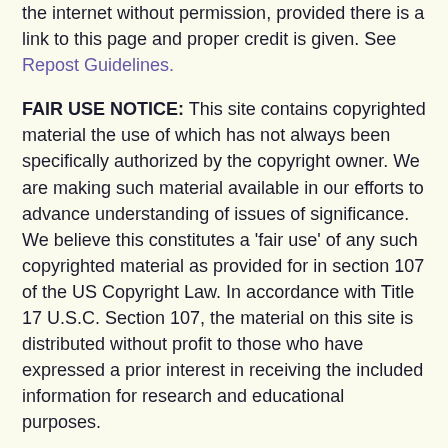the internet without permission, provided there is a link to this page and proper credit is given. See Repost Guidelines.
FAIR USE NOTICE: This site contains copyrighted material the use of which has not always been specifically authorized by the copyright owner. We are making such material available in our efforts to advance understanding of issues of significance. We believe this constitutes a 'fair use' of any such copyrighted material as provided for in section 107 of the US Copyright Law. In accordance with Title 17 U.S.C. Section 107, the material on this site is distributed without profit to those who have expressed a prior interest in receiving the included information for research and educational purposes.
Serving Areas of: Hollywood, Aventura, Miami, Fort Lauderdale, Pembroke Pines, Miramar, Davie, Coral Springs, Cooper City, Sunshine Ranches, Hallandale, Surfside, Miami Beach, Sunny Isles, Normandy Isles, Coral Gables,